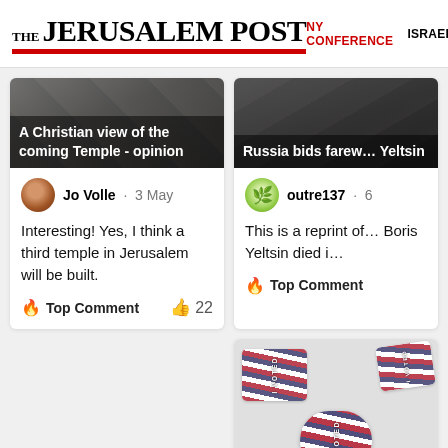THE JERUSALEM POST | NY CONFERENCE | ISRAEL
[Figure (screenshot): Article thumbnail: A Christian view of the coming Temple - opinion. Dark background image.]
Jo Volle · 3 May
Interesting! Yes, I think a third temple in Jerusalem will be built.
🔥 Top Comment  👍 22
[Figure (screenshot): Article thumbnail: Russia bids farewell Yeltsin. Dark background image.]
outre137 · 6
This is a reprint of... Boris Yeltsin died i...
🔥 Top Comment
[Figure (photo): I VOTED stickers with American flag design, white circular stickers on light background]
Should non-ci...